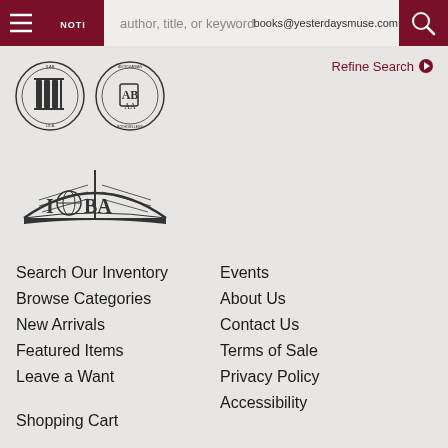books@yesterdaysmuse.com
[Figure (logo): Navigation bar with hamburger menu, NOTI tab, search input placeholder 'author, title, or keyword', and search button]
[Figure (logo): Two circular association logos: ILAB/LILA and ABAA Antiquarian Booksellers]
[Figure (logo): IOBA (International Organization of Antiquarian Booksellers) open book logo]
Refine Search
Search Our Inventory
Browse Categories
New Arrivals
Featured Items
Leave a Want
Events
About Us
Contact Us
Terms of Sale
Privacy Policy
Accessibility
Shopping Cart
My Account
Create an Account
Forgot Password